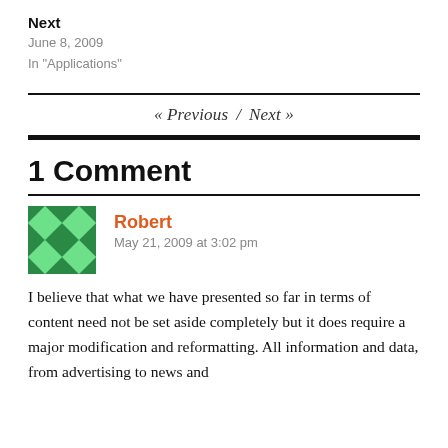Next
June 8, 2009
In "Applications"
« Previous / Next »
1 Comment
Robert
May 21, 2009 at 3:02 pm
I believe that what we have presented so far in terms of content need not be set aside completely but it does require a major modification and reformatting. All information and data, from advertising to news and